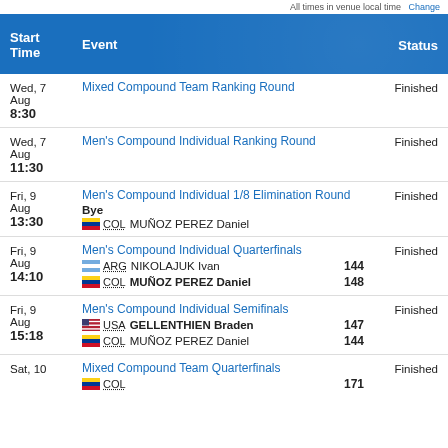All times in venue local time  Change
| Start Time | Event | Status |
| --- | --- | --- |
| Wed, 7 Aug 8:30 | Mixed Compound Team Ranking Round | Finished |
| Wed, 7 Aug 11:30 | Men's Compound Individual Ranking Round | Finished |
| Fri, 9 Aug 13:30 | Men's Compound Individual 1/8 Elimination Round
Bye
COL MUÑOZ PEREZ Daniel | Finished |
| Fri, 9 Aug 14:10 | Men's Compound Individual Quarterfinals
ARG NIKOLAJUK Ivan 144
COL MUÑOZ PEREZ Daniel 148 | Finished |
| Fri, 9 Aug 15:18 | Men's Compound Individual Semifinals
USA GELLENTHIEN Braden 147
COL MUÑOZ PEREZ Daniel 144 | Finished |
| Sat, 10 | Mixed Compound Team Quarterfinals
COL ... 171 | Finished |